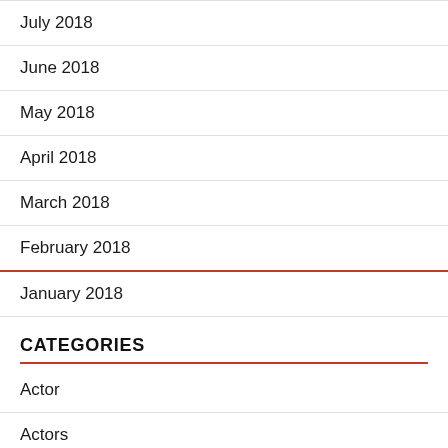July 2018
June 2018
May 2018
April 2018
March 2018
February 2018
January 2018
CATEGORIES
Actor
Actors
Actress
Albums